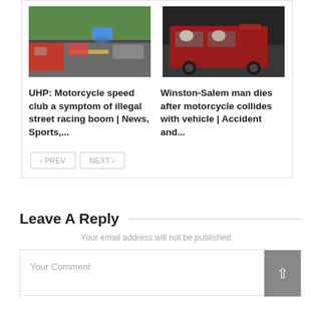[Figure (photo): Photo of a road scene with emergency vehicles and a helicopter on a highway with green hills in background]
[Figure (photo): Photo of a fast-moving red pickup truck with lights on, motion blur effect]
UHP: Motorcycle speed club a symptom of illegal street racing boom | News, Sports,...
Winston-Salem man dies after motorcycle collides with vehicle | Accident and...
< PREV
NEXT >
Leave A Reply
Your email address will not be published.
Your Comment